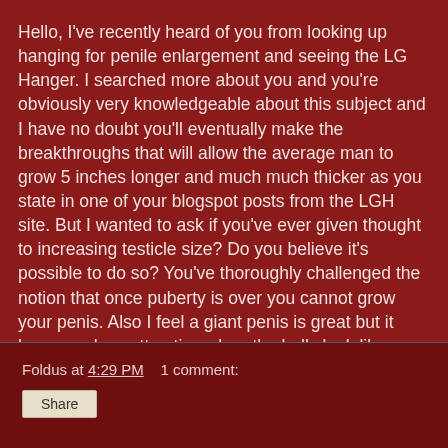Hello, I've recently heard of you from looking up hanging for penile enlargement and seeing the LG Hanger. I searched more about you and you're obviously very knowledgeable about this subject and I have no doubt you'll eventually make the breakthroughs that will allow the average man to grow 5 inches longer and much much thicker as you state in one of your blogspot posts from the LGH site. But I wanted to ask if you've ever given thought to increasing testicle size? Do you believe it's possible to do so? You've thoroughly challenged the notion that once puberty is over you cannot grow your penis. Also I feel a giant penis is great but it becomes less attractive when the balls look like grapes in comparison. Do you feel you might ever look into increasing testicular size, especially after reaching your goals for penile size? Thanks - M
Foldus at 4:29 PM    1 comment: